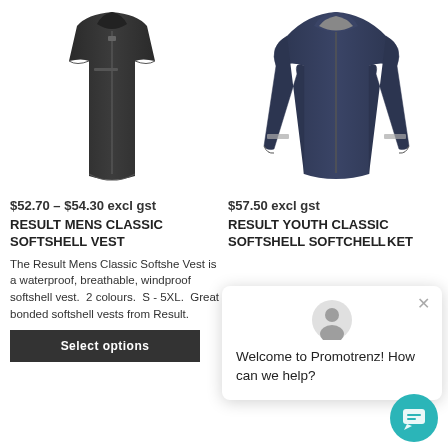[Figure (photo): Black softshell vest product photo on white background]
[Figure (photo): Navy blue youth classic softshell jacket product photo on white background]
$52.70 – $54.30 excl gst
$57.50 excl gst
RESULT MENS CLASSIC SOFTSHELL VEST
RESULT YOUTH CLASSIC SOFTSHELL JACKET
The Result Mens Classic Softshell Vest is a waterproof, breathable, windproof softshell vest. 2 colours. S - 5XL. Great bonded softshell vests from Result.
waterproof softshell jackets.
Select options
Select options
Welcome to Promotrenz! How can we help?